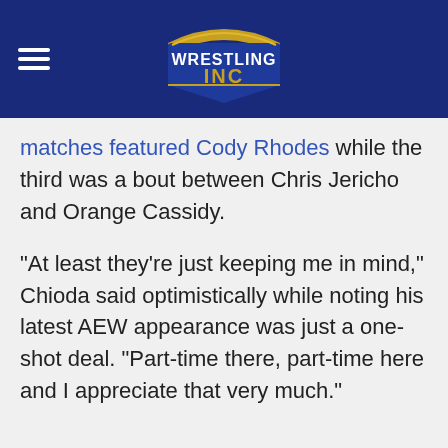Wrestling Inc
matches featured Cody Rhodes while the third was a bout between Chris Jericho and Orange Cassidy.
"At least they're just keeping me in mind," Chioda said optimistically while noting his latest AEW appearance was just a one-shot deal. "Part-time there, part-time here and I appreciate that very much."